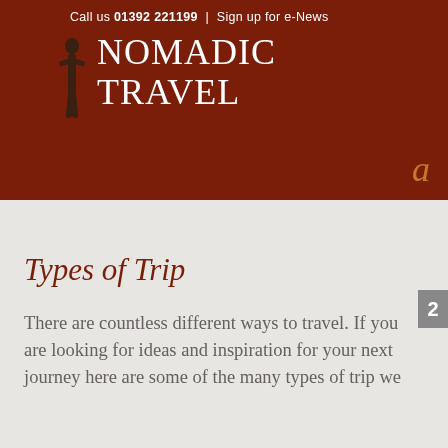Call us 01392 221199 | Sign up for e-News
Nomadic Travel
Types of Trip
There are countless different ways to travel. If you are looking for ideas and inspiration for your next journey here are some of the many types of trip we